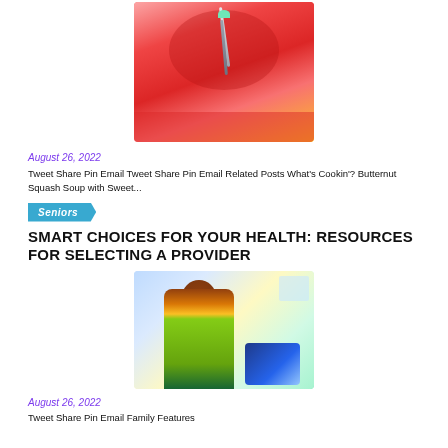[Figure (photo): A glass of red watermelon smoothie drink with a metal straw and mint garnish, with watermelon slices in the background]
August 26, 2022
Tweet Share Pin Email Tweet Share Pin Email Related Posts What's Cookin'? Butternut Squash Soup with Sweet...
Seniors
SMART CHOICES FOR YOUR HEALTH: RESOURCES FOR SELECTING A PROVIDER
[Figure (photo): A senior Black woman in a yellow shirt smiling and looking at a tablet device, with a computer monitor visible in the background]
August 26, 2022
Tweet Share Pin Email Family Features